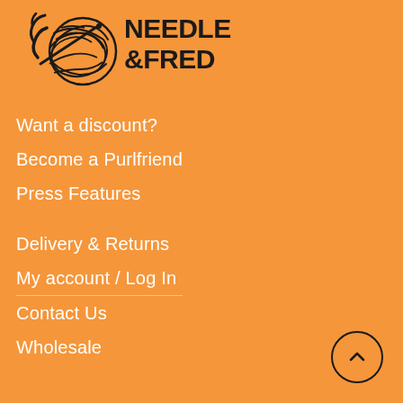[Figure (logo): Needle & Fred logo with yarn ball illustration and bold handwritten text reading NEEDLE & FRED on orange background]
Want a discount?
Become a Purlfriend
Press Features
Delivery & Returns
My account / Log In
Contact Us
Wholesale